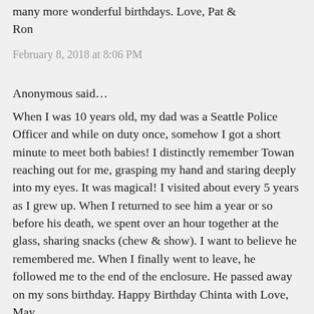many more wonderful birthdays. Love, Pat & Ron
February 8, 2018 at 8:06 PM
Anonymous said…
When I was 10 years old, my dad was a Seattle Police Officer and while on duty once, somehow I got a short minute to meet both babies! I distinctly remember Towan reaching out for me, grasping my hand and staring deeply into my eyes. It was magical! I visited about every 5 years as I grew up. When I returned to see him a year or so before his death, we spent over an hour together at the glass, sharing snacks (chew & show). I want to believe he remembered me. When I finally went to leave, he followed me to the end of the enclosure. He passed away on my sons birthday. Happy Birthday Chinta with Love, May